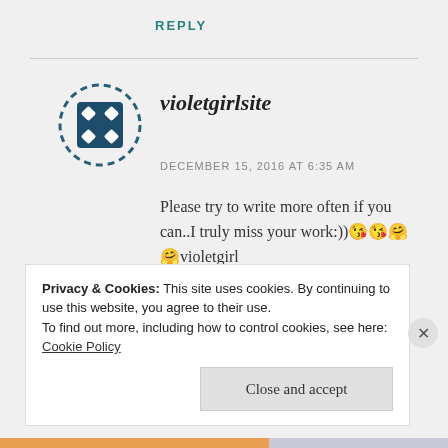REPLY
[Figure (logo): Circular dashed border with a dark teal/navy square in the center containing four white diamond/dot shapes arranged in a 2x2 grid — avatar icon for user violetgirlsite]
violetgirlsite
DECEMBER 15, 2016 AT 6:35 AM
Please try to write more often if you can..I truly miss your work:))😘😘🤗🤗violetgirl
★ Liked by 1 person
Privacy & Cookies: This site uses cookies. By continuing to use this website, you agree to their use.
To find out more, including how to control cookies, see here: Cookie Policy
Close and accept